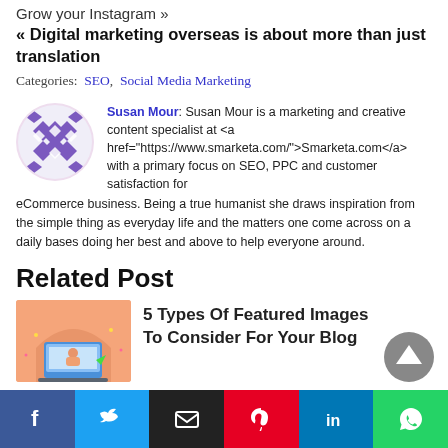Grow your Instagram »
« Digital marketing overseas is about more than just translation
Categories: SEO, Social Media Marketing
Susan Mour: Susan Mour is a marketing and creative content specialist at <a href="https://www.smarketa.com/">Smarketa.com</a> with a primary focus on SEO, PPC and customer satisfaction for eCommerce business. Being a true humanist she draws inspiration from the simple thing as everyday life and the matters one come across on a daily bases doing her best and above to help everyone around.
Related Post
5 Types Of Featured Images To Consider For Your Blog